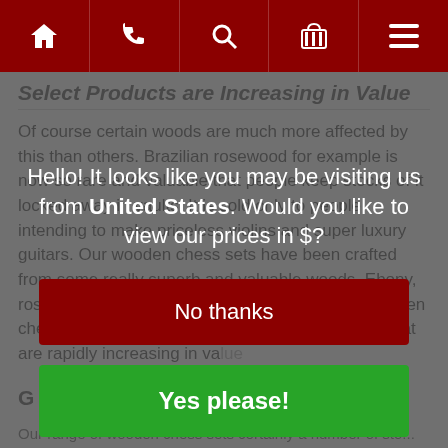Navigation bar with home, phone, search, basket, menu icons
Select Products are Increasing in Value
Of course certain woods are much more affected by this than others. Brazilian rosewood for example is now so rare and valuable that people keep stocks of it locked away in vaults. It is sold only to people intending to make priceless violins and super luxury guitars. Our wooden chess sets have been crafted from some really superb and valuable woods. Ebony, rosewood, rio... is mostly prohibited. Our range of wooden chess sets features countless wood types, some that are rapidly increasing in value
[Figure (screenshot): Popup/modal overlay with geolocation prompt: 'Hello! It looks like you may be visiting us from United States. Would you like to view our prices in $?' with 'No thanks' (dark red button) and 'Yes please!' (green button) options]
G...
Our range of wooden chess sets certainly a number of sto...